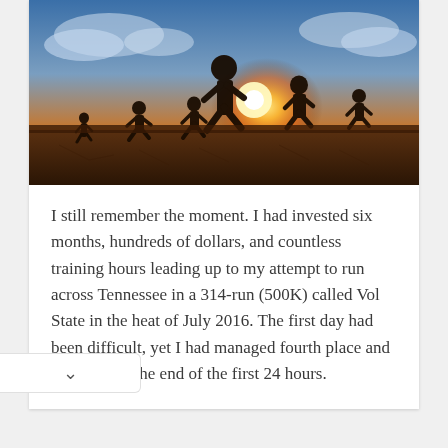[Figure (photo): Silhouettes of runners against a dramatic sunset sky, running across a dry cracked earth landscape with sun bursting through clouds in the background.]
I still remember the moment. I had invested six months, hundreds of dollars, and countless training hours leading up to my attempt to run across Tennessee in a 314-run (500K) called Vol State in the heat of July 2016. The first day had been difficult, yet I had managed fourth place and 98 miles by the end of the first 24 hours.